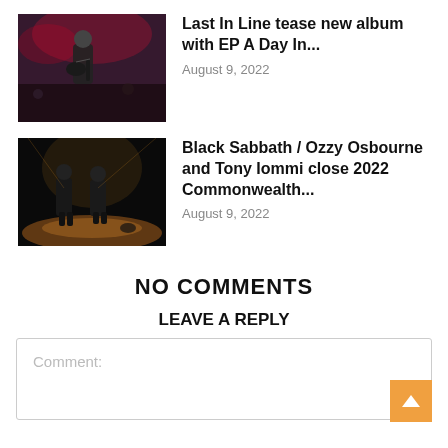[Figure (photo): Guitarist performing on stage with dark background and red stage lighting]
Last In Line tease new album with EP A Day In...
August 9, 2022
[Figure (photo): Two performers on a dark stage with dramatic backlighting]
Black Sabbath / Ozzy Osbourne and Tony Iommi close 2022 Commonwealth...
August 9, 2022
NO COMMENTS
LEAVE A REPLY
Comment: